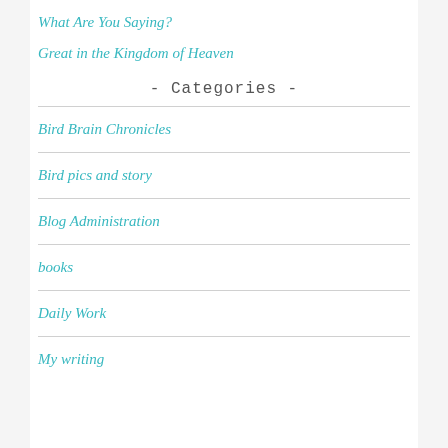What Are You Saying?
Great in the Kingdom of Heaven
- Categories -
Bird Brain Chronicles
Bird pics and story
Blog Administration
books
Daily Work
My writing